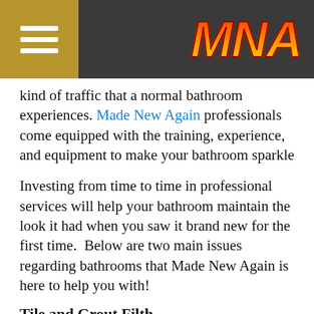MNA
kind of traffic that a normal bathroom experiences. Made New Again professionals come equipped with the training, experience, and equipment to make your bathroom sparkle
Investing from time to time in professional services will help your bathroom maintain the look it had when you saw it brand new for the first time.  Below are two main issues regarding bathrooms that Made New Again is here to help you with!
Tile and Grout Filth
Over time stains and grime will build up on tile flooring, especially in the cracks. Grout is